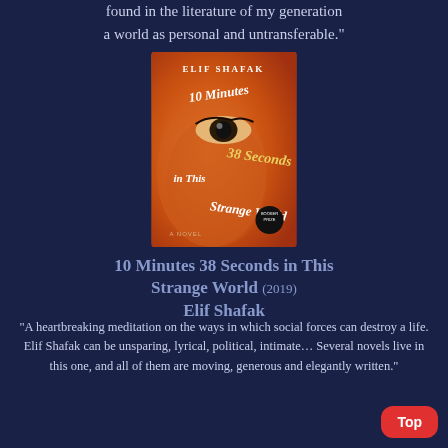found in the literature of my generation a world as personal and untransferable."
[Figure (photo): Book cover of '10 Minutes 38 Seconds in This Strange World' by Elif Shafak (2019). Orange cover with a close-up of a woman's face and eye, with the title in curved white and yellow text.]
10 Minutes 38 Seconds in This Strange World (2019) Elif Shafak
"A heartbreaking meditation on the ways in which social forces can destroy a life. Elif Shafak can be unsparing, lyrical, political, intimate… Several novels live in this one, and all of them are moving, generous and elegantly written."